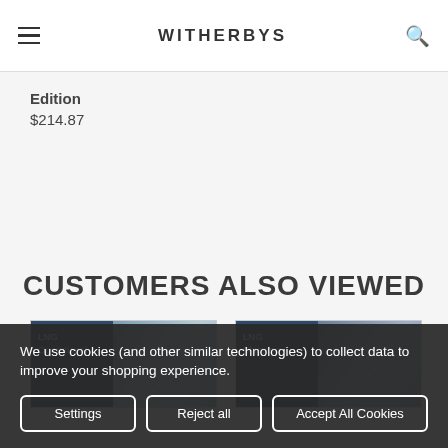WITHERBYS
Edition
$214.87
CUSTOMERS ALSO VIEWED
[Figure (photo): LNG Operational book cover thumbnail with dark blue panel and photo of LNG infrastructure]
[Figure (photo): LNG Shipping book cover thumbnail with dark blue panel and photo of LNG facility at dusk]
We use cookies (and other similar technologies) to collect data to improve your shopping experience.
Settings   Reject all   Accept All Cookies